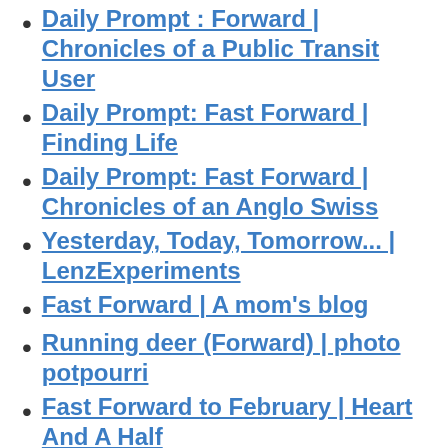Daily Prompt : Forward | Chronicles of a Public Transit User
Daily Prompt: Fast Forward | Finding Life
Daily Prompt: Fast Forward | Chronicles of an Anglo Swiss
Yesterday, Today, Tomorrow... | LenzExperiments
Fast Forward | A mom's blog
Running deer (Forward) | photo potpourri
Fast Forward to February | Heart And A Half
Daily Prompt: Fast Forward | Under the Monkey Tree